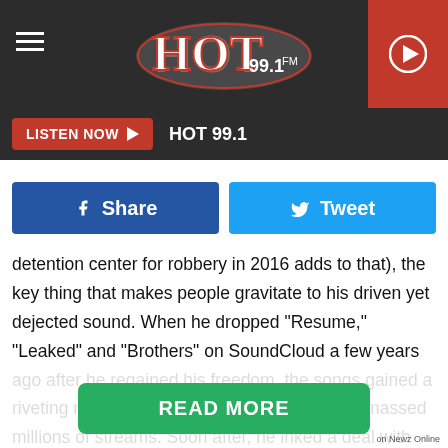HOT 99.1 FM - LISTEN NOW
[Figure (logo): Hot 99.1 FM radio station logo with red stylized text on dark header bar]
LISTEN NOW  HOT 99.1
Share   Tweet
detention center for robbery in 2016 adds to that), the key thing that makes people gravitate to his driven yet dejected sound. When he dropped “Resume,” “Leaked” and “Brothers” on SoundCloud a few years ago after he regained his freedom, the songs gained a riveting momentum right out of the gate and amassed millions of streams. Soon after, he inked a deal with Columbia Records in 2018, which placed him alongside fellow rookie and 2020 XXL Freshman Polo G. Together, the two earned their first platinum plaques with Polo’s
READ MORE